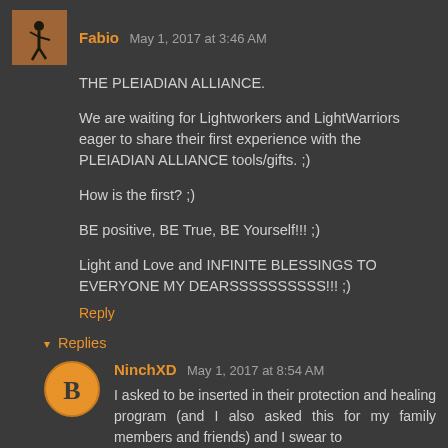Fabio May 1, 2017 at 3:46 AM
THE PLEIADIAN ALLIANCE.
We are waiting for Lightworkers and LightWarriors eager to share their first experience with the PLEIADIAN ALLIANCE tools/gifts. ;)
How is the first? ;)
BE positive, BE True, BE Yourself!!! ;)
Light and Love and INFINITE BLESSINGS TO EVERYONE MY DEARSSSSSSSSSS!!! ;)
Reply
Replies
NinchXD May 1, 2017 at 8:54 AM
I asked to be inserted in their protection and healing program (and I also asked this for my family members and friends) and I swear to